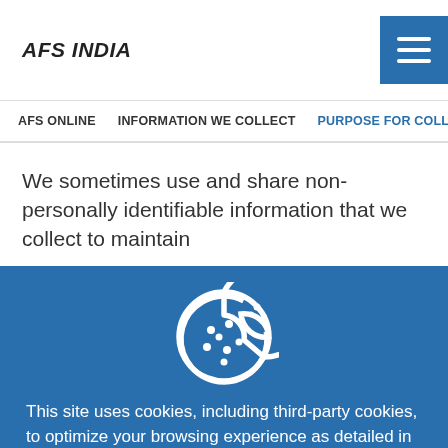AFS INDIA
AFS ONLINE   INFORMATION WE COLLECT   PURPOSE FOR COLLECTIO
We sometimes use and share non-personally identifiable information that we collect to maintain
[Figure (illustration): Cookie icon — a round cookie with a bite taken out, shown in white outline on blue background]
This site uses cookies, including third-party cookies, to optimize your browsing experience as detailed in our cookie policy. By closing this banner, scrolling this page, or continuing to browse otherwise, you agree to the use of cookies.
Continue   More Settings